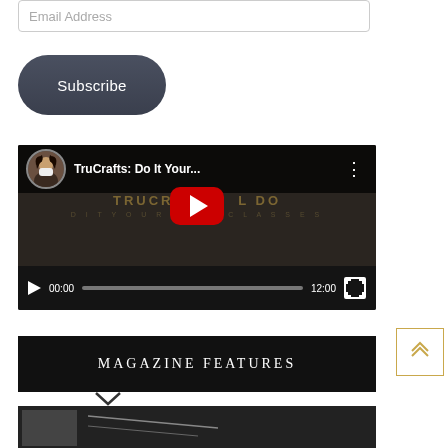[Figure (screenshot): Email address input field, partially visible at top]
[Figure (screenshot): Dark rounded Subscribe button]
[Figure (screenshot): YouTube video player showing TruCrafts: Do It Your... with play button, progress bar showing 00:00 / 12:00]
MAGAZINE FEATURES
[Figure (screenshot): Bottom portion of magazine features section with partially visible content]